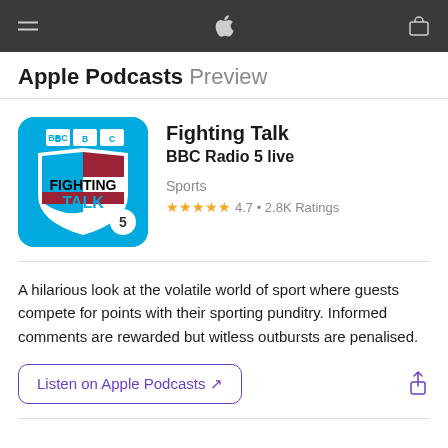Apple Podcasts Preview
[Figure (logo): BBC Fighting Talk podcast logo — blue shield with BBC text at top, 'FIGHTING TALK' text in black and blue, red stripe, sports icons, number 5 badge]
Fighting Talk
BBC Radio 5 live
Sports
★★★★★ 4.7 • 2.8K Ratings
A hilarious look at the volatile world of sport where guests compete for points with their sporting punditry. Informed comments are rewarded but witless outbursts are penalised.
Listen on Apple Podcasts ↗